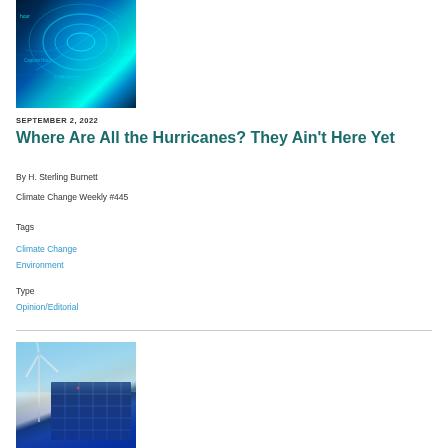[Figure (photo): Hurricane radar/satellite image with blue-green swirling storm pattern and overlay text]
SEPTEMBER 2, 2022
Where Are All the Hurricanes? They Ain't Here Yet
By H. Sterling Burnett
Climate Change Weekly #445
Tags
Climate Change
Environment
Type
Opinion/Editorial
[Figure (photo): Wind turbine and solar panels against sky background]